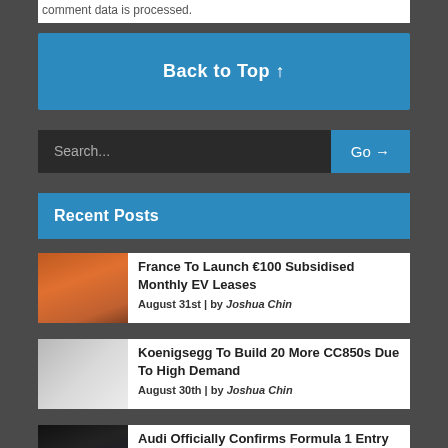comment data is processed.
Back to Top ↑
Search...   Go →
Recent Posts
[Figure (photo): Thumbnail image of EV car in orange/industrial setting]
France To Launch €100 Subsidised Monthly EV Leases
August 31st | by Joshua Chin
[Figure (photo): Thumbnail image of white Koenigsegg CC850 supercar]
Koenigsegg To Build 20 More CC850s Due To High Demand
August 30th | by Joshua Chin
[Figure (photo): Thumbnail image of Audi Formula 1 car in dark setting]
Audi Officially Confirms Formula 1 Entry From 2026
August 17th | by Joshua Chin